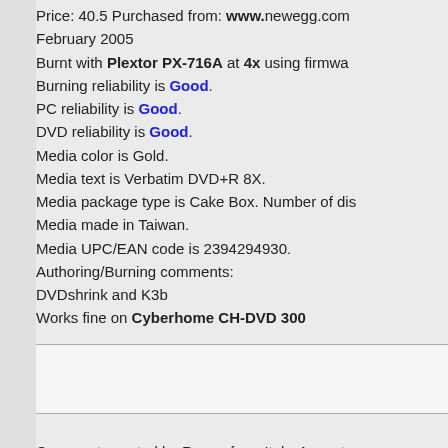Price: 40.5 Purchased from: www.newegg.com February 2005
Burnt with Plextor PX-716A at 4x using firmware
Burning reliability is Good.
PC reliability is Good.
DVD reliability is Good.
Media color is Gold.
Media text is Verbatim DVD+R 8X.
Media package type is Cake Box. Number of dis
Media made in Taiwan.
Media UPC/EAN code is 2394294930.
Authoring/Burning comments:
DVDshrink and K3b
Works fine on Cyberhome CH-DVD 300
Comments posted by Rouge from Italy, August
correctly burned at 4x